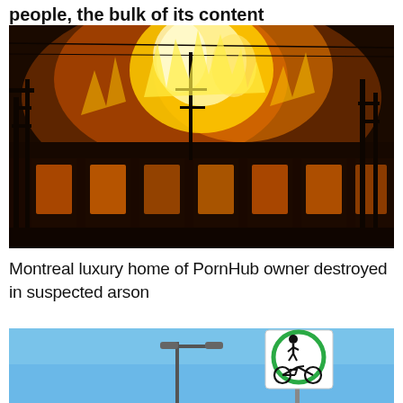people, the bulk of its content
[Figure (photo): A building engulfed in large flames at night, with fire visible through windows and above the roof, silhouetted bare trees in the foreground]
Montreal luxury home of PornHub owner destroyed in suspected arson
[Figure (photo): Street scene with blue sky, a streetlight pole on the left, and a pedestrian/cyclist sign (green circle with pedestrian and bicycle icons) on the right]